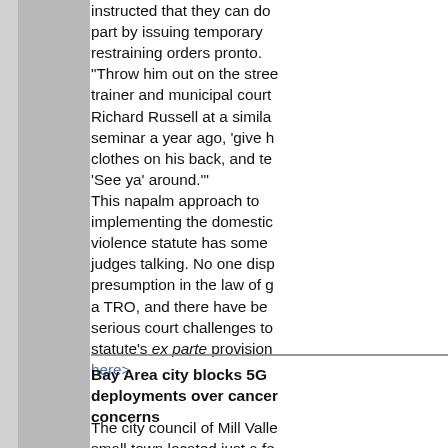instructed that they can do part by issuing temporary restraining orders pronto. "Throw him out on the street," trainer and municipal court judge Richard Russell at a similar seminar a year ago, 'give him the clothes on his back, and tell him 'See ya' around.'" This napalm approach to implementing the domestic violence statute has some judges talking. No one disputes the presumption in the law of granting a TRO, and there have been no serious court challenges to the statute's ex parte provisions here>
Bay Area city blocks 5G deployments over cancer concerns
The city council of Mill Valley, a small town located just a few miles north of San Francisco, voted unanimously late last week to effectively block deployments